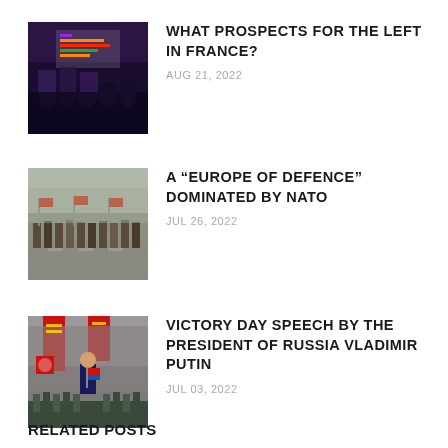[Figure (photo): Photo of a rally with 'Nouvelle Union Populaire Ecologique et Sociale' banner and crowd]
WHAT PROSPECTS FOR THE LEFT IN FRANCE?
AUG 21, 2022
[Figure (photo): Photo of military parade with soldiers marching]
A “EUROPE OF DEFENCE” DOMINATED BY NATO
JUL 26, 2022
[Figure (photo): Photo of Victory Day parade in Russia with red banners and soldiers]
VICTORY DAY SPEECH BY THE PRESIDENT OF RUSSIA VLADIMIR PUTIN
JUL 03, 2022
RELATED POSTS